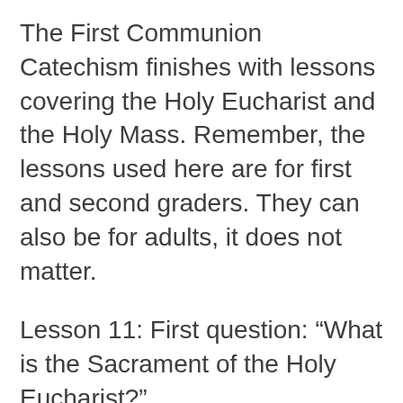The First Communion Catechism finishes with lessons covering the Holy Eucharist and the Holy Mass. Remember, the lessons used here are for first and second graders. They can also be for adults, it does not matter.
Lesson 11: First question: “What is the Sacrament of the Holy Eucharist?”
Answer: “The Holy Eucharist is the sacrament of the body and blood of Our Lord Jesus Christ.”